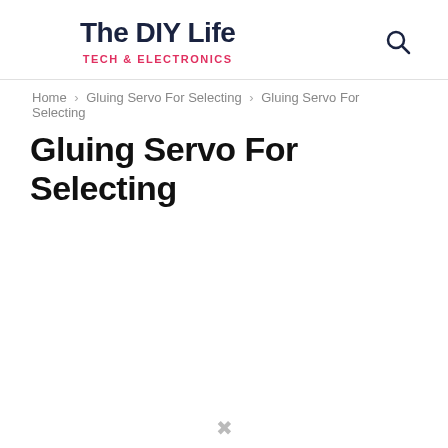The DIY Life — TECH & ELECTRONICS
Home › Gluing Servo For Selecting › Gluing Servo For Selecting
Gluing Servo For Selecting